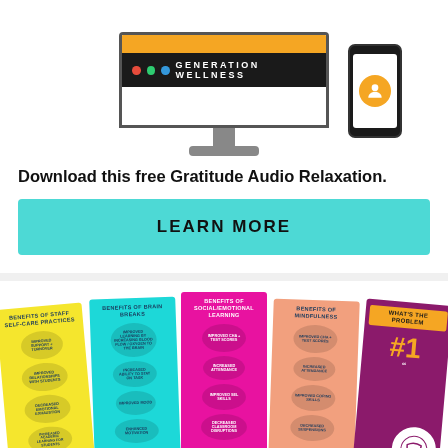[Figure (illustration): Generation Wellness branded monitor and phone illustration]
Download this free Gratitude Audio Relaxation.
LEARN MORE
[Figure (illustration): Five colorful infographic cards: Benefits of Staff Self-Care Practices, Benefits of Brain Breaks, Benefits of Social/Emotional Learning, Benefits of Mindfulness, What's the Problem]